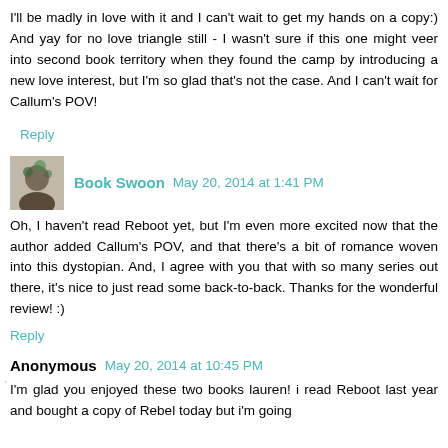I'll be madly in love with it and I can't wait to get my hands on a copy:) And yay for no love triangle still - I wasn't sure if this one might veer into second book territory when they found the camp by introducing a new love interest, but I'm so glad that's not the case. And I can't wait for Callum's POV!
Reply
Book Swoon  May 20, 2014 at 1:41 PM
Oh, I haven't read Reboot yet, but I'm even more excited now that the author added Callum's POV, and that there's a bit of romance woven into this dystopian. And, I agree with you that with so many series out there, it's nice to just read some back-to-back. Thanks for the wonderful review! :)
Reply
Anonymous  May 20, 2014 at 10:45 PM
I'm glad you enjoyed these two books lauren! i read Reboot last year and bought a copy of Rebel today but i'm going